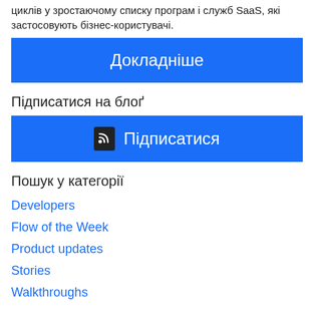циклів у зростаючому списку програм і служб SaaS, які застосовують бізнес-користувачі.
Докладніше
Підписатися на блоґ
🔔 Підписатися
Пошук у категорії
Developers
Flow of the Week
Product updates
Stories
Walkthroughs